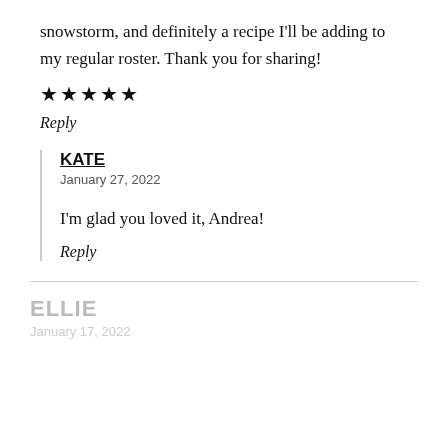snowstorm, and definitely a recipe I'll be adding to my regular roster. Thank you for sharing!
★★★★★
Reply
KATE
January 27, 2022
I'm glad you loved it, Andrea!
Reply
ELLIE
January 17, 2022